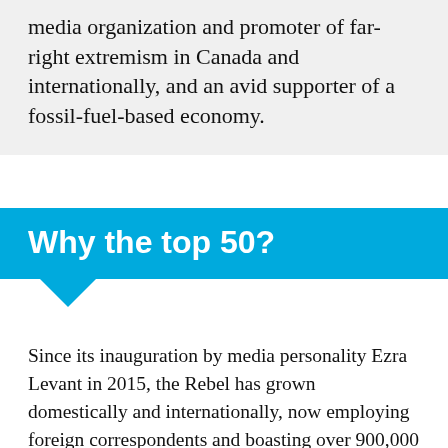media organization and promoter of far-right extremism in Canada and internationally, and an avid supporter of a fossil-fuel-based economy.
Why the top 50?
Since its inauguration by media personality Ezra Levant in 2015, the Rebel has grown domestically and internationally, now employing foreign correspondents and boasting over 900,000 followers on YouTube—putting it on our list as one of the